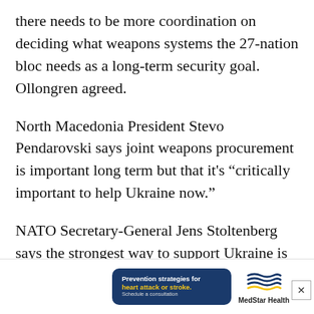there needs to be more coordination on deciding what weapons systems the 27-nation bloc needs as a long-term security goal. Ollongren agreed.
North Macedonia President Stevo Pendarovski says joint weapons procurement is important long term but that it's “critically important to help Ukraine now.”
NATO Secretary-General Jens Stoltenberg says the strongest way to support Ukraine is providing weapons, which allies are doing at unprecedented levels as Ukraine has requested. He reiterated that “we support Ukraine, but
NATO
[Figure (other): MedStar Health advertisement banner with dark blue background, text 'Prevention strategies for heart attack or stroke. Schedule a consultation' in white and yellow, and MedStar Health logo with stylized blue and yellow flag icon on white background.]